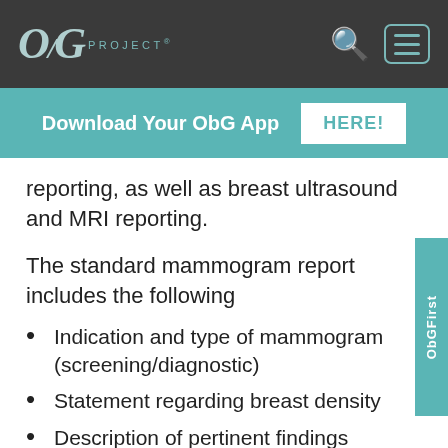ObG PROJECT®
Download Your ObG App HERE!
reporting, as well as breast ultrasound and MRI reporting.
The standard mammogram report includes the following
Indication and type of mammogram (screening/diagnostic)
Statement regarding breast density
Description of pertinent findings including size and location, oriented by quadrant and clock position